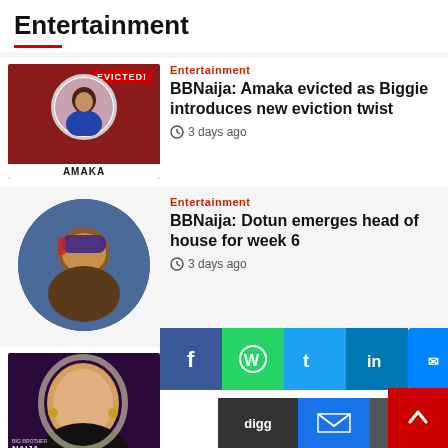Entertainment
[Figure (photo): BBNaija Amaka evicted contestant photo on red background with EVICTED banner]
Entertainment
BBNaija: Amaka evicted as Biggie introduces new eviction twist
3 days ago
[Figure (photo): BBNaija Dotun circular portrait photo]
Entertainment
BBNaija: Dotun emerges head of house for week 6
3 days ago
[Figure (photo): BBNaija fake housemate evicted contestant photo on dark purple background]
Entertainment
BBNaija: Fake housemate, [name], evicted...
3 days ago
[Figure (infographic): Social share buttons: Facebook, WhatsApp, Twitter, LinkedIn, Messenger, Digg, Email, Print]